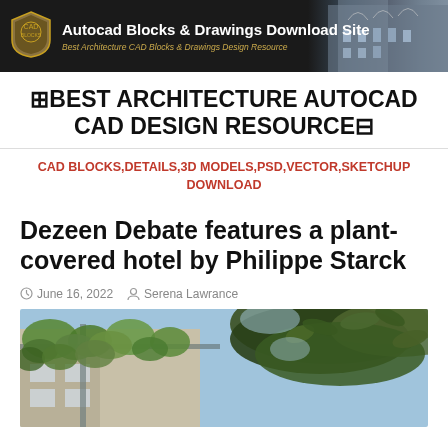Autocad Blocks & Drawings Download Site — Best Architecture CAD Blocks & Drawings Design Resource
⊞BEST ARCHITECTURE AUTOCAD CAD DESIGN RESOURCE⊟
CAD BLOCKS,DETAILS,3D MODELS,PSD,VECTOR,SKETCHUP DOWNLOAD
Dezeen Debate features a plant-covered hotel by Philippe Starck
June 16, 2022   Serena Lawrance
[Figure (photo): Exterior photo of a plant-covered hotel building with green foliage and tree leaves in foreground against blue sky]